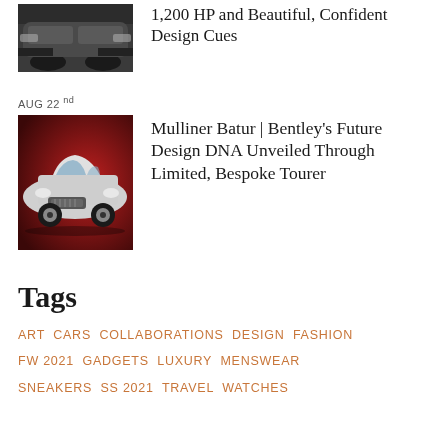[Figure (photo): Dark colored luxury car photographed from front-side angle on street]
1,200 HP and Beautiful, Confident Design Cues
AUG 22nd
[Figure (photo): White Bentley Mulliner Batur coupe on dark red background]
Mulliner Batur | Bentley's Future Design DNA Unveiled Through Limited, Bespoke Tourer
Tags
ART  CARS  COLLABORATIONS  DESIGN  FASHION  FW 2021  GADGETS  LUXURY  MENSWEAR  SNEAKERS  SS 2021  TRAVEL  WATCHES